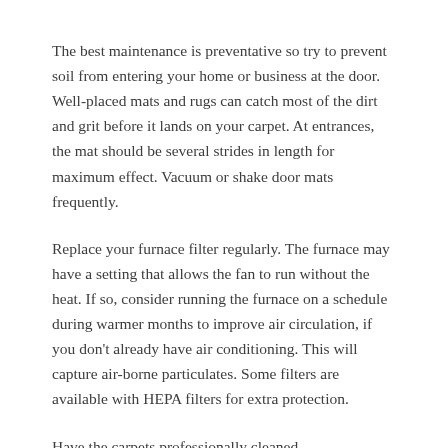The best maintenance is preventative so try to prevent soil from entering your home or business at the door. Well-placed mats and rugs can catch most of the dirt and grit before it lands on your carpet. At entrances, the mat should be several strides in length for maximum effect. Vacuum or shake door mats frequently.
Replace your furnace filter regularly. The furnace may have a setting that allows the fan to run without the heat. If so, consider running the furnace on a schedule during warmer months to improve air circulation, if you don't already have air conditioning. This will capture air-borne particulates. Some filters are available with HEPA filters for extra protection.
Have the carpets professionally cleaned...